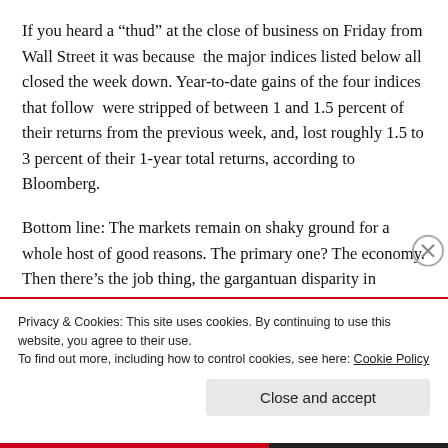If you heard a “thud” at the close of business on Friday from Wall Street it was because  the major indices listed below all closed the week down. Year-to-date gains of the four indices that follow  were stripped of between 1 and 1.5 percent of their returns from the previous week, and, lost roughly 1.5 to 3 percent of their 1-year total returns, according to Bloomberg.
Bottom line: The markets remain on shaky ground for a whole host of good reasons. The primary one? The economy. Then there’s the job thing, the gargantuan disparity in incomes between the corporate haves and worker bee have-nots. the state of economies around the
Privacy & Cookies: This site uses cookies. By continuing to use this website, you agree to their use.
To find out more, including how to control cookies, see here: Cookie Policy